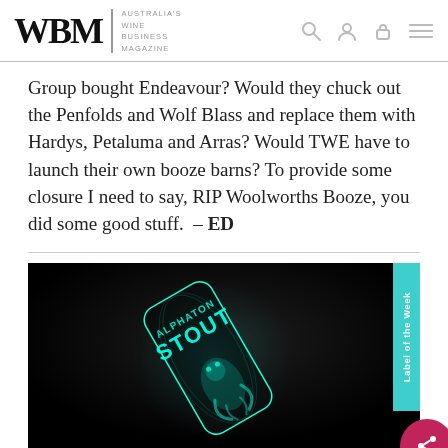WBM — Australia's Wine Business Magazine (navigation header)
Group bought Endeavour? Would they chuck out the Penfolds and Wolf Blass and replace them with Hardys, Petaluma and Arras? Would TWE have to launch their own booze barns? To provide some closure I need to say, RIP Woolworths Booze, you did some good stuff.  – ED
[Figure (photo): A glowing teal/cyan beer can labeled 'Alphaton Stout' with illustrated character art on a dark background, with a 'Label of the Week' teal tab on the right side and a pink/red share button overlaid at bottom right.]